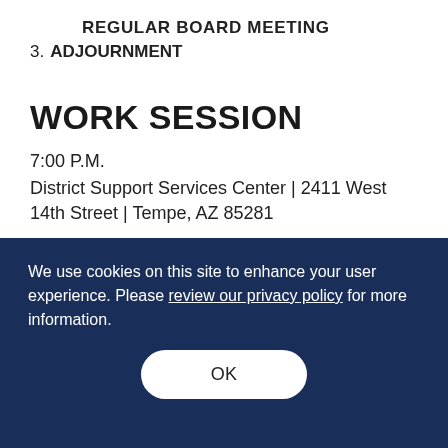REGULAR BOARD MEETING
3. ADJOURNMENT
WORK SESSION
7:00 P.M.
District Support Services Center | 2411 West 14th Street | Tempe, AZ 85281
We use cookies on this site to enhance your user experience. Please review our privacy policy for more information.
OK